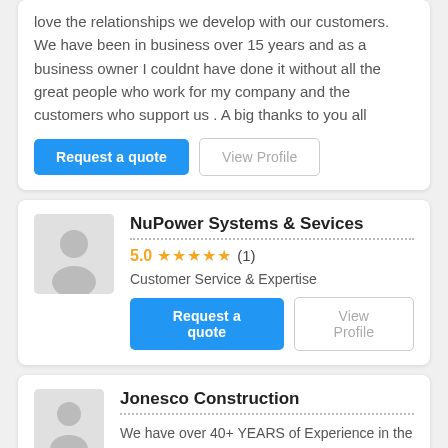love the relationships we develop with our customers. We have been in business over 15 years and as a business owner I couldnt have done it without all the great people who work for my company and the customers who support us . A big thanks to you all
Request a quote
View Profile
NuPower Systems & Sevices
5.0 ★★★★★ (1)
Customer Service & Expertise
Request a quote
View Profile
Jonesco Construction
We have over 40+ YEARS of Experience in the